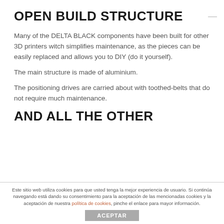OPEN BUILD STRUCTURE
Many of the DELTA BLACK components have been built for other 3D printers witch simplifies maintenance, as the pieces can be easily replaced and allows you to DIY (do it yourself).
The main structure is made of aluminium.
The positioning drives are carried about with toothed-belts that do not require much maintenance.
AND ALL THE OTHER
Este sitio web utiliza cookies para que usted tenga la mejor experiencia de usuario. Si continúa navegando está dando su consentimiento para la aceptación de las mencionadas cookies y la aceptación de nuestra política de cookies, pinche el enlace para mayor información.